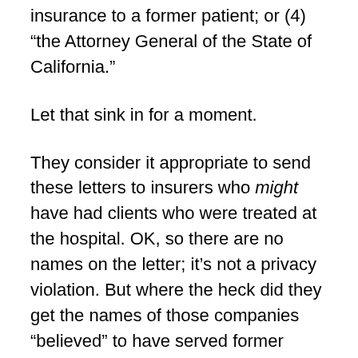insurance to a former patient; or (4) “the Attorney General of the State of California.”
Let that sink in for a moment.
They consider it appropriate to send these letters to insurers who might have had clients who were treated at the hospital. OK, so there are no names on the letter; it’s not a privacy violation. But where the heck did they get the names of those companies “believed” to have served former patients? If they were listed in the hospital records, shouldn’t they be considered “known” rather than “believed”? Or did they just send one to every insurance company they could find a name and address for?
The real kicker for me, though, is that this law firm apparently believes there’s a one in four chance that I’m